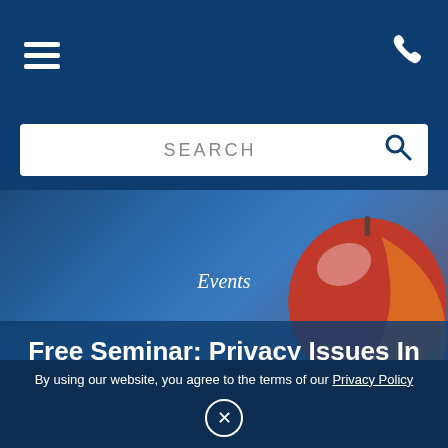[Figure (screenshot): Navigation bar with hamburger menu icon on left and phone icon on right, dark navy blue background]
[Figure (screenshot): Search bar with white rounded rectangle input field containing the text SEARCH and a magnifying glass icon, on dark navy background]
[Figure (photo): Hero image showing a red apple against a dark blue/grey blurred background, with an apple on a dark surface]
Events
Free Seminar: Privacy Issues In The Wake Of Virginia Tech
By using our website, you agree to the terms of our Privacy Policy